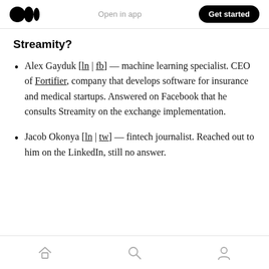Open in app  Get started
Streamity?
Alex Gayduk [ln | fb] — machine learning specialist. CEO of Fortifier, company that develops software for insurance and medical startups. Answered on Facebook that he consults Streamity on the exchange implementation.
Jacob Okonya [ln | tw] — fintech journalist. Reached out to him on the LinkedIn, still no answer.
Home  Search  Profile